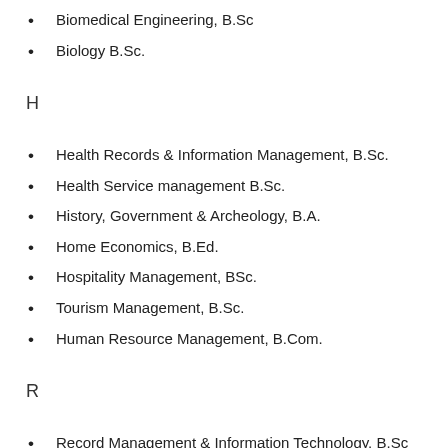Biomedical Engineering, B.Sc
Biology B.Sc.
H
Health Records & Information Management, B.Sc.
Health Service management B.Sc.
History, Government & Archeology, B.A.
Home Economics, B.Ed.
Hospitality Management, BSc.
Tourism Management, B.Sc.
Human Resource Management, B.Com.
R
Record Management & Information Technology, B.Sc
Records Management and Technology, B.Ed.
Resource Conservation, B.Env
Real Estate B.R.E